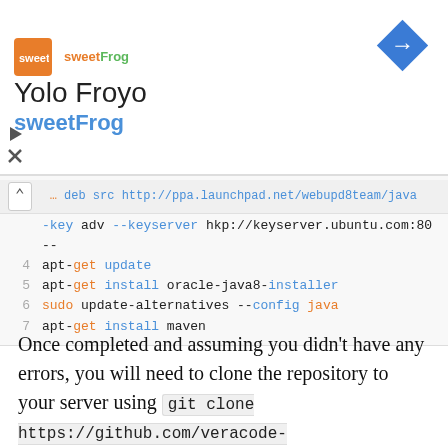[Figure (logo): sweetFrog advertisement banner with logo, 'Yolo Froyo' title, 'sweetFrog' subtitle, and a blue navigation diamond icon]
[Figure (screenshot): Code block showing terminal commands: apt-key adv --keyserver hkp://keyserver.ubuntu.com:80 --, apt-get update, apt-get install oracle-java8-installer, sudo update-alternatives --config java, apt-get install maven]
Once completed and assuming you didn't have any errors, you will need to clone the repository to your server using git clone https://github.com/veracode-research/rogue-jndi. Once done, cd into the folder (cd rogue-jndi) and run maven package. Once this is done, you should have a directory called target with the compiled Java files. If everything from above has worked out, we are ready to move on to the exploitation part.